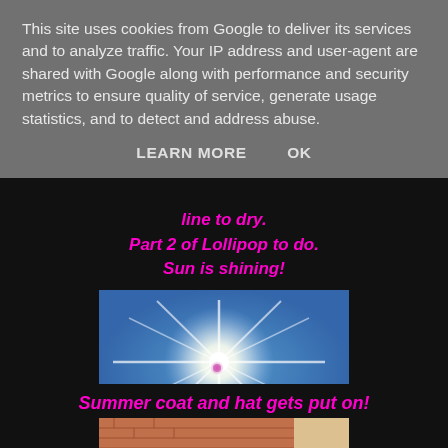This site uses cookies from Google to deliver its services and to analyze traffic. Your IP address and user-agent are shared with Google along with performance and security metrics to ensure quality of service, generate usage statistics, and to detect and address abuse.
LEARN MORE    OK
line to dry.
Part 2 of Lollipop to do.
Sun is shining!
[Figure (photo): Bright sun against blue sky with starburst lens flare effect]
Summer coat and hat gets put on!
[Figure (photo): Partial view of brick building exterior, bottom cropped]